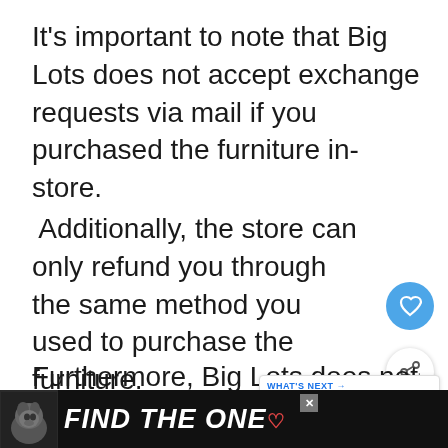It's important to note that Big Lots does not accept exchange requests via mail if you purchased the furniture in-store.
Additionally, the store can only refund you through the same method you used to purchase the furniture.
Furthermore, Big Lots does not cover shipping and handling costs unless you received a damaged or defective item that the...
[Figure (other): Bottom advertisement banner: dark background with dog photo and text 'FIND THE ONE' with heart icon]